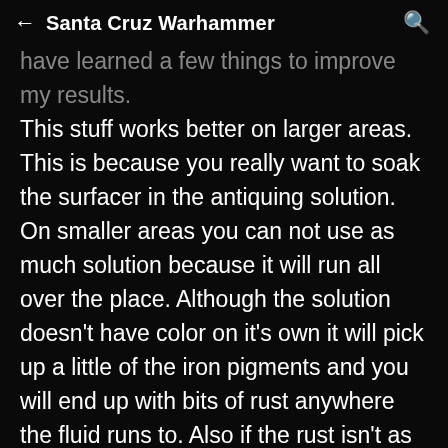← Santa Cruz Warhammer 🔍
have learned a few things to improve my results. This stuff works better on larger areas. This is because you really want to soak the surfacer in the antiquing solution. On smaller areas you can not use as much solution because it will run all over the place. Although the solution doesn't have color on it's own it will pick up a little of the iron pigments and you will end up with bits of rust anywhere the fluid runs to. Also if the rust isn't as bright as you want on the first coat you can apply subsequent washes of the antiquing solution to further rust an area. Even keeping those tips in mind, this kit is really easy to use.